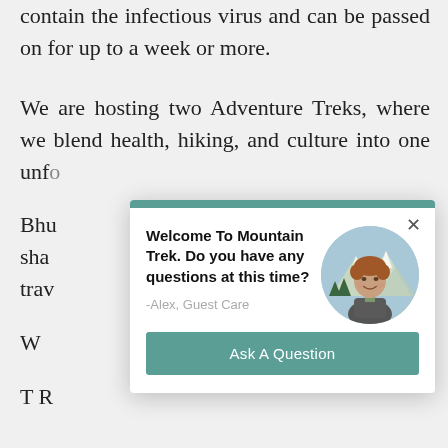contain the infectious virus and can be passed on for up to a week or more.
We are hosting two Adventure Treks, where we blend health, hiking, and culture into one unfo...
[Figure (screenshot): Chat widget popup modal with teal header bar, close button (×), welcome message 'Welcome To Mountain Trek. Do you have any questions at this time?', agent signature '-Alex, Guest Care', circular photo of a smiling man outdoors with mountains, and a teal 'Ask A Question' button.]